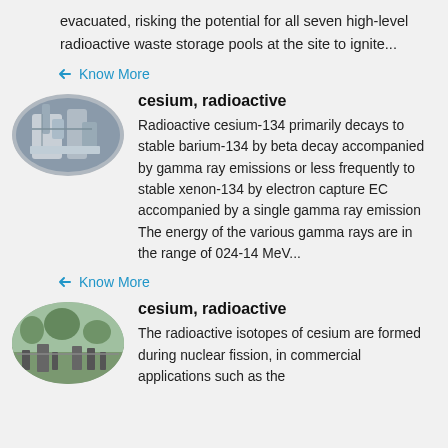evacuated, risking the potential for all seven high-level radioactive waste storage pools at the site to ignite...
Know More
[Figure (photo): Oval-shaped photo of industrial nuclear facility interior with pipes and tanks]
cesium, radioactive
Radioactive cesium-134 primarily decays to stable barium-134 by beta decay accompanied by gamma ray emissions or less frequently to stable xenon-134 by electron capture EC accompanied by a single gamma ray emission The energy of the various gamma rays are in the range of 024-14 MeV...
Know More
[Figure (photo): Oval-shaped photo of outdoor industrial or nuclear site with trees and structures]
cesium, radioactive
The radioactive isotopes of cesium are formed during nuclear fission, in commercial applications such as the